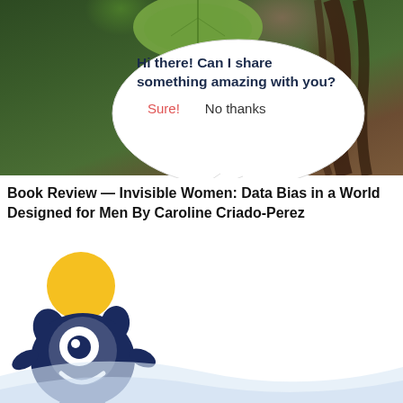[Figure (screenshot): Photo background showing a person with dark hair and a green leaf, with a chat/notification popup dialog overlaid. The dialog bubble says 'Hi there! Can I share something amazing with you?' with buttons 'Sure!' (red) and 'No thanks' (gray).]
Book Review — Invisible Women: Data Bias in a World Designed for Men By Caroline Criado-Perez
[Figure (illustration): Illustrated mascot character: a dark navy blue friendly monster/creature with a round yellow ball on its head, large white eye, and a smile, with small legs. Shown against a white background with a light blue wave at the bottom.]